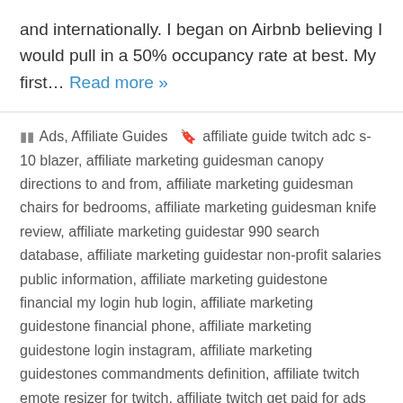and internationally. I began on Airbnb believing I would pull in a 50% occupancy rate at best. My first… Read more »
Ads, Affiliate Guides   affiliate guide twitch adc s-10 blazer, affiliate marketing guidesman canopy directions to and from, affiliate marketing guidesman chairs for bedrooms, affiliate marketing guidesman knife review, affiliate marketing guidestar 990 search database, affiliate marketing guidestar non-profit salaries public information, affiliate marketing guidestone financial my login hub login, affiliate marketing guidestone financial phone, affiliate marketing guidestone login instagram, affiliate marketing guidestones commandments definition, affiliate twitch emote resizer for twitch, affiliate twitch get paid for ads 2020 vision sermon, affiliate twitch logo transparent png, affiliate twitch picture layout template, amazon affiliate link ruleset r/sub, amazon guidelines for returns to kohls